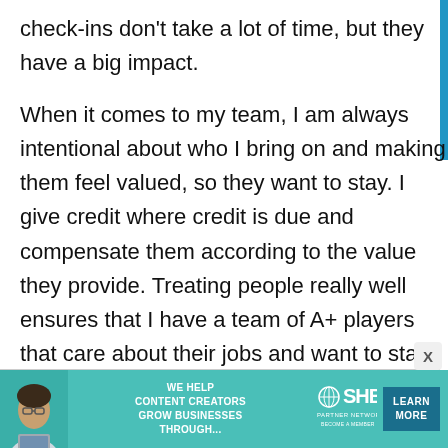check-ins don't take a lot of time, but they have a big impact.
When it comes to my team, I am always intentional about who I bring on and making them feel valued, so they want to stay. I give credit where credit is due and compensate them according to the value they provide. Treating people really well ensures that I have a team of A+ players that care about their jobs and want to stay with my company.
[Figure (infographic): Advertisement banner for SHE Media Partner Network. Text reads: WE HELP CONTENT CREATORS GROW BUSINESSES THROUGH... alongside SHE logo and LEARN MORE button. Shows image of a woman with a laptop.]